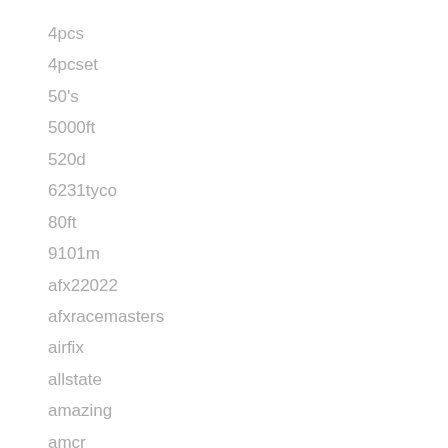4pcs
4pcset
50's
5000ft
520d
6231tyco
80ft
9101m
afx22022
afxracemasters
airfix
allstate
amazing
amcr
america's
american
antique
atlas